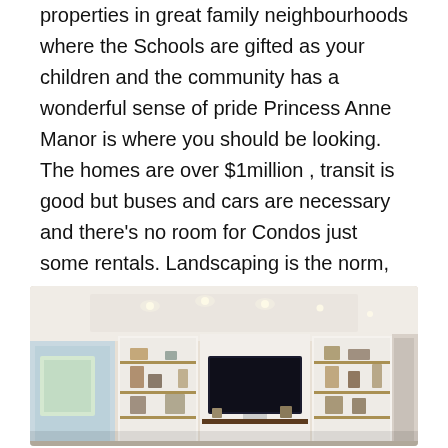properties in great family neighbourhoods where the Schools are gifted as your children and the community has a wonderful sense of pride Princess Anne Manor is where you should be looking. The homes are over $1million , transit is good but buses and cars are necessary and there's no room for Condos just some rentals. Landscaping is the norm, new builds are sprouting up even the the ranch bungalows seem to provide plenty of space for families.
[Figure (photo): Interior photo of a modern living room with recessed ceiling lights, built-in white shelving units flanking a wall-mounted flat screen TV, and warm wood accent shelves. Natural light comes from a window on the left.]